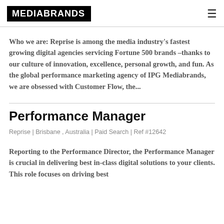MEDIABRANDS
Who we are: Reprise is among the media industry's fastest growing digital agencies servicing Fortune 500 brands –thanks to our culture of innovation, excellence, personal growth, and fun. As the global performance marketing agency of IPG Mediabrands, we are obsessed with Customer Flow, the...
Performance Manager
Reprise | Brisbane , Australia | Paid Search | Ref #12642
Reporting to the Performance Director, the Performance Manager is crucial in delivering best in-class digital solutions to your clients. This role focuses on driving best